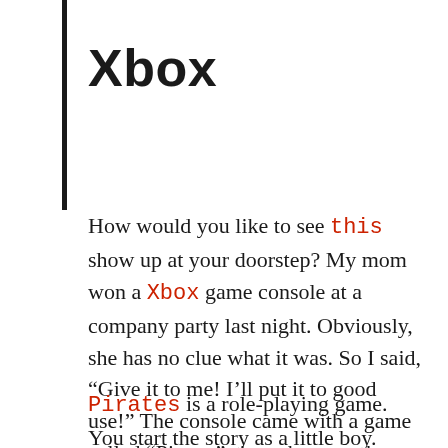Xbox
How would you like to see this show up at your doorstep? My mom won a Xbox game console at a company party last night. Obviously, she has no clue what it was. So I said, “Give it to me! I’ll put it to good use!” The console came with a game called “Pirates” since that was the theme of the party.
Pirates is a role-playing game. You start the story as a little boy. Pirates storm in and take your family and fortune. You managed to escape, but your family does